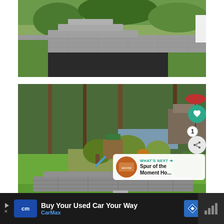[Figure (photo): Photo of a curved stone retaining wall with steps along a blacktop driveway, surrounded by green lawn and garden plants.]
[Figure (photo): Photo of a backyard with a curved stone retaining wall, garden beds with tall grasses and flowers, a children's playset, tall trees, and a wooden deck with a red umbrella. Overlaid UI elements: heart button, share button with count 1, and 'What's Next' card showing 'Spur of the Moment Ho...'.]
[Figure (photo): Advertisement banner: CarMax 'Buy Your Used Car Your Way' with CM logo.]